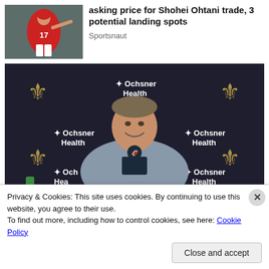[Figure (photo): Baseball player wearing number 17 jersey pitching]
asking price for Shohei Ohtani trade, 3 potential landing spots
Sportsnaut
[Figure (photo): Man smiling at press conference in front of New Orleans Saints / Ochsner Health backdrop]
Privacy & Cookies: This site uses cookies. By continuing to use this website, you agree to their use.
To find out more, including how to control cookies, see here: Cookie Policy
Close and accept